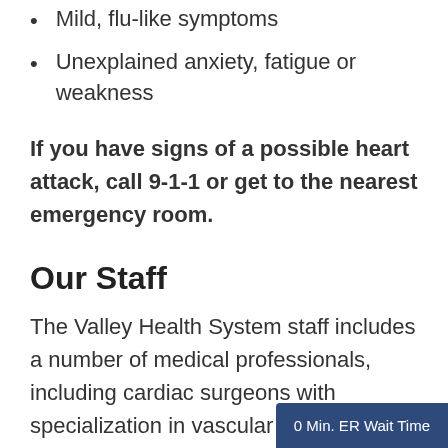Mild, flu-like symptoms
Unexplained anxiety, fatigue or weakness
If you have signs of a possible heart attack, call 9-1-1 or get to the nearest emergency room.
Our Staff
The Valley Health System staff includes a number of medical professionals, including cardiac surgeons with specialization in vascular disorders and cardiovascular surgery, bypass surgery and more
0 Min. ER Wait Time